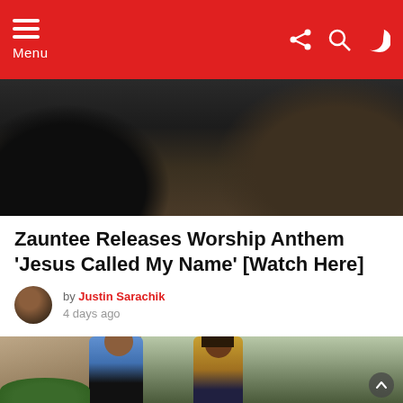Menu
[Figure (photo): Cropped top portion of a dark-themed video still showing dark silhouettes and brown tones]
Zauntee Releases Worship Anthem ‘Jesus Called My Name’ [Watch Here]
by Justin Sarachik 4 days ago
[Figure (photo): Photo of two men standing outside in front of a brick building. The man on the left wears a blue jacket, the man on the right wears a yellow patterned jacket and yellow sunglasses with dreadlocks. Several people are visible in the background.]